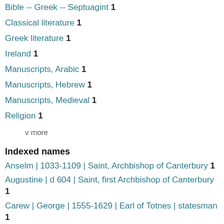Bible -- Greek -- Septuagint  1
Classical literature  1
Greek literature  1
Ireland  1
Manuscripts, Arabic  1
Manuscripts, Hebrew  1
Manuscripts, Medieval  1
Religion  1
v more
Indexed names
Anselm | 1033-1109 | Saint, Archbishop of Canterbury  1
Augustine | d 604 | Saint, first Archbishop of Canterbury  1
Carew | George | 1555-1629 | Earl of Totnes | statesman  1
Casaubon | Isaac | 1559-1614 | Prebendary...